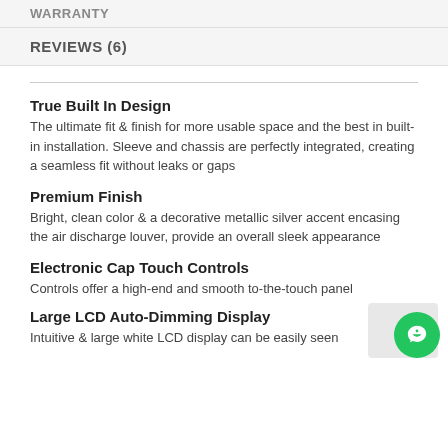WARRANTY
REVIEWS (6)
True Built In Design
The ultimate fit & finish for more usable space and the best in built-in installation. Sleeve and chassis are perfectly integrated, creating a seamless fit without leaks or gaps
Premium Finish
Bright, clean color & a decorative metallic silver accent encasing the air discharge louver, provide an overall sleek appearance
Electronic Cap Touch Controls
Controls offer a high-end and smooth to-the-touch panel
Large LCD Auto-Dimming Display
Intuitive & large white LCD display can be easily seen